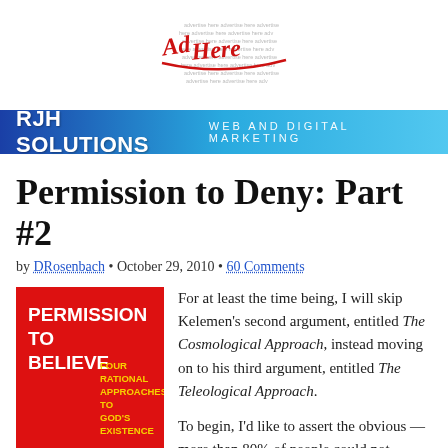[Figure (logo): Advertise here logo with red cursive text and repeated 'advertise here' filler text in circular design]
RJH SOLUTIONS   WEB AND DIGITAL MARKETING
Permission to Deny: Part #2
by DRosenbach • October 29, 2010 • 60 Comments
[Figure (photo): Book cover: PERMISSION TO BELIEVE FOUR RATIONAL APPROACHES TO GOD'S EXISTENCE — red background with white and yellow text]
For at least the time being, I will skip Kelemen's second argument, entitled The Cosmological Approach, instead moving on to his third argument, entitled The Teleological Approach.

To begin, I'd like to assert the obvious — more than 80% of people could not define the word teleology if you'd stop them on the street a la Jay